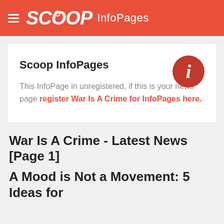SCOOP InfoPages
Scoop InfoPages
This InfoPage in unregistered, if this is your news page register War Is A Crime for InfoPages here.
War Is A Crime - Latest News [Page 1]
A Mood is Not a Movement: 5 Ideas for